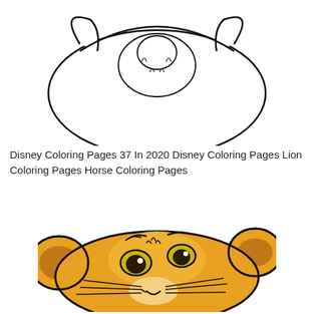[Figure (illustration): Line drawing / coloring page outline of a lion cub (Simba) seen from behind and above, showing the rounded head and small tuft of mane, black outline on white background.]
Disney Coloring Pages 37 In 2020 Disney Coloring Pages Lion Coloring Pages Horse Coloring Pages
[Figure (illustration): Colored cartoon illustration of young Simba (lion cub) from The Lion King, face-forward close-up with golden-orange fur, large black-rimmed ears, big brown eyes, pink nose, and whiskers on a white background.]